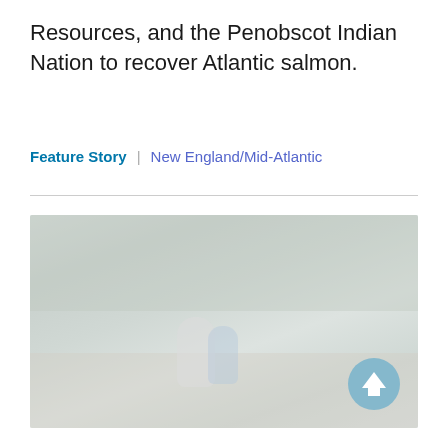Resources, and the Penobscot Indian Nation to recover Atlantic salmon.
Feature Story | New England/Mid-Atlantic
[Figure (photo): Faded outdoor photograph showing two people standing near a stream or river in a wooded area, likely engaged in salmon-related fieldwork.]